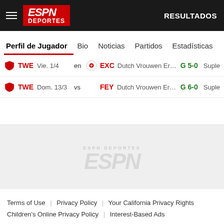ESPN Deportes — RESULTADOS
Perfil de Jugador  Bio  Noticias  Partidos  Estadísticas
|  | Team | Date |  |  | Opponent | League | Score |  |
| --- | --- | --- | --- | --- | --- | --- | --- | --- |
| [shield] | TWE | Vie. 1/4 | en | [logo] | EXC | Dutch Vrouwen Ere... | G 5-0 | Suple... |
| [shield] | TWE | Dom. 13/3 | vs |  | FEY | Dutch Vrouwen Ere... | G 6-0 | Suple... |
[Figure (logo): ESPN watermark logo in gray]
Terms of Use | Privacy Policy | Your California Privacy Rights | Children's Online Privacy Policy | Interest-Based Ads | About Nielsen Measurement | Do Not Sell My Info | Contact Us | Disney Ad Sales Site | Work for ESPN | Copyright: © ESPN Enterprises, Inc. All rights reserved.